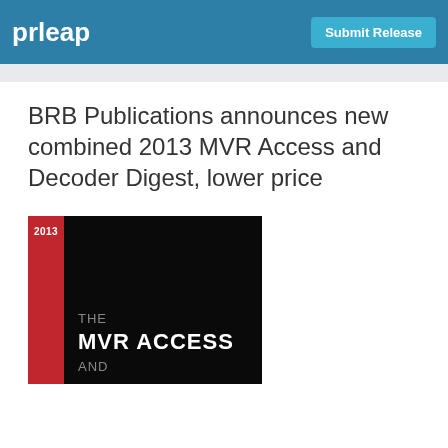prleap | Submit Release
BRB Publications announces new combined 2013 MVR Access and Decoder Digest, lower price
[Figure (illustration): Book cover for 2013 MVR Access and Decoder Digest. Red tab on left with '2013' text, black background with 'THE MVR ACCESS AND' text in white and gray.]